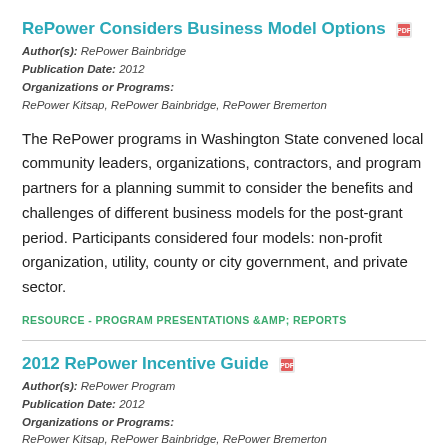RePower Considers Business Model Options
Author(s): RePower Bainbridge
Publication Date: 2012
Organizations or Programs:
RePower Kitsap, RePower Bainbridge, RePower Bremerton
The RePower programs in Washington State convened local community leaders, organizations, contractors, and program partners for a planning summit to consider the benefits and challenges of different business models for the post-grant period. Participants considered four models: non-profit organization, utility, county or city government, and private sector.
RESOURCE - PROGRAM PRESENTATIONS &AMP; REPORTS
2012 RePower Incentive Guide
Author(s): RePower Program
Publication Date: 2012
Organizations or Programs:
RePower Kitsap, RePower Bainbridge, RePower Bremerton